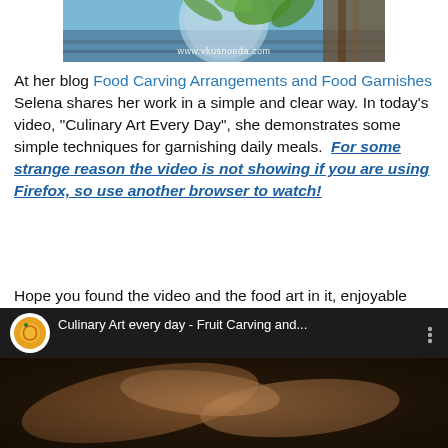[Figure (photo): Top portion of a food carving/garnish photo showing a decorative plate with greenery and blue background, with watermark www.vkusnoeda.com]
At her blog Food Carving Arrangements and Food Garnishes Selena shares her work in a simple and clear way. In today's video, "Culinary Art Every Day", she demonstrates some simple techniques for garnishing daily meals. For some strange reason the video is not showing if you are using Firefox, so use another browser to watch!
Hope you found the video and the food art in it, enjoyable and easy to do. I know I did, and soon you will see a live demonstration in the presentation of some of my upcoming dishes 🙂
[Figure (screenshot): YouTube video embed showing 'Culinary Art every day - Fruit Carving and...' with a circular logo icon, white text title, and three-dot menu. Below is a dark blurry image of hands doing food carving.]